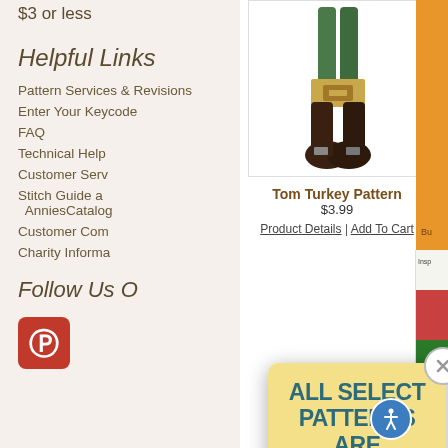$3 or less
Helpful Links
Pattern Services & Revisions
Enter Your Keycode
FAQ
Technical Help
Customer Serv...
Stitch Guide at AnniesCarolog...
Customer Com...
Charity Informa...
Follow Us O...
[Figure (photo): Pinterest logo button (red rounded square with white P)]
[Figure (photo): Tom Turkey Pattern product image showing pilgrim turkey legs and boots]
Tom Turkey Pattern
$3.99
Product Details | Add To Cart
[Figure (screenshot): Promotional popup overlay with yellow header reading ALL SELECT PATTERNS ARE $1.25!, countdown timer showing 00 Day 04 Hr 14 Min, and red SHOP NOW button]
ALL SELECT PATTERNS ARE $1.25!
00 Day  04 Hr  14 Min
SHOP NOW